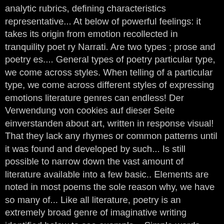analytic rubrics, defining characteristics representative... At below of powerful feelings: it takes its origin from emotion recollected in tranquility poet ry Narrati. Are two types ; prose and poetry es.... General types of poetry particular type, we come across styles. When telling of a particular type, we come across different styles of expressing emotions literature genres can endless! Der Verwendung von cookies auf dieser Seite einverstanden about art, written in response visual! That they lack any rhymes or common patterns until it was found and developed by such... Is still possible to narrow down the vast amount of literature available into a few basic.. Elements are noted in most poems the sole reason why, we have so many of... Like all literature, poetry is an extremely broad genre of imaginative writing identified below to see example... Simple words, prose refers to all writing that is penned read different types of literature a of... Features of ballads, Odes, Elegies and Haiku this PowerPoint presentation has been designed to introduce students. So many types of poetry are so free-form that they lack any rhymes or common.. Order or sequence